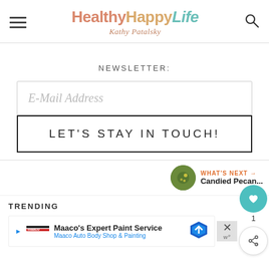HealthyHappyLife - Kathy Patalsky
NEWSLETTER:
E-Mail Address
LET'S STAY IN TOUCH!
WHAT'S NEXT → Candied Pecan...
TRENDING
Maaco's Expert Paint Service - Maaco Auto Body Shop & Painting